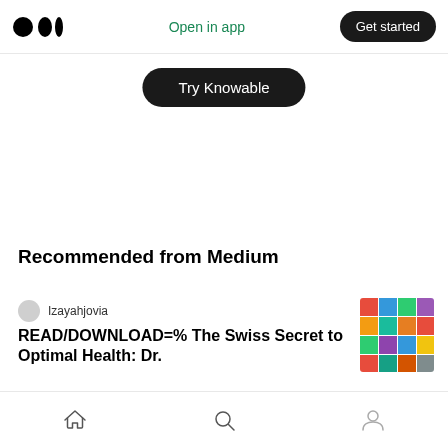Medium logo | Open in app | Get started
Try Knowable
Recommended from Medium
Izayahjovia
READ/DOWNLOAD=% The Swiss Secret to Optimal Health: Dr.
[Figure (photo): Colorful grid of book covers thumbnail]
thet1dproject
[Figure (photo): Partial thumbnail image for second article]
Home | Search | Profile navigation icons